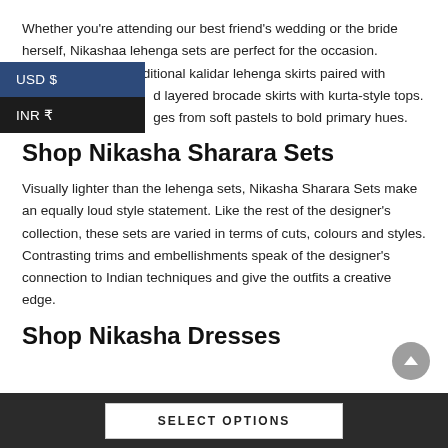Whether you're attending our best friend's wedding or the bride herself, Nikashaa lehenga sets are perfect for the occasion. Choose between traditional kalidar lehenga skirts paired with cropped layered brocade skirts with kurta-style tops. The colour ranges from soft pastels to bold primary hues.
USD $
INR ₹
Shop Nikasha Sharara Sets
Visually lighter than the lehenga sets, Nikasha Sharara Sets make an equally loud style statement. Like the rest of the designer's collection, these sets are varied in terms of cuts, colours and styles. Contrasting trims and embellishments speak of the designer's connection to Indian techniques and give the outfits a creative edge.
Shop Nikasha Dresses
SELECT OPTIONS